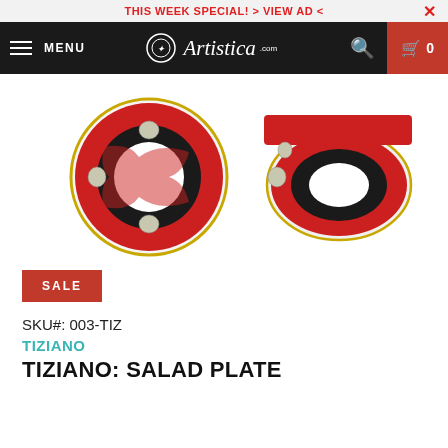THIS WEEK SPECIAL! > VIEW AD <
[Figure (screenshot): Artistica.com website navigation bar with hamburger menu, Artistica.com logo, search icon, and cart icon (0 items) on dark background]
[Figure (photo): Two views of a decorative salad plate with red and black border featuring ornate floral and scroll designs with gold trim — front view (circular) and angled side view]
SALE
SKU#: 003-TIZ
TIZIANO
TIZIANO: SALAD PLATE